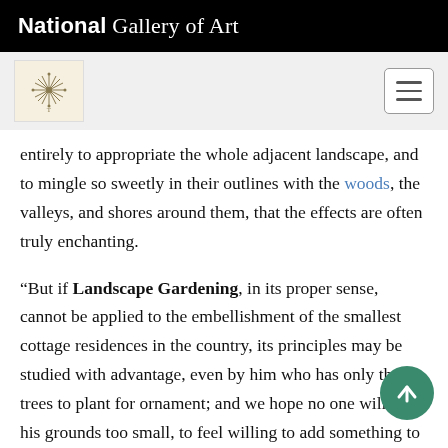National Gallery of Art
[Figure (logo): Art book logo with starburst/snowflake design on cream background]
entirely to appropriate the whole adjacent landscape, and to mingle so sweetly in their outlines with the woods, the valleys, and shores around them, that the effects are often truly enchanting.
“But if Landscape Gardening, in its proper sense, cannot be applied to the embellishment of the smallest cottage residences in the country, its principles may be studied with advantage, even by him who has only three trees to plant for ornament; and we hope no one will think his grounds too small, to feel willing to add something to the general amount of beauty in the country. . .